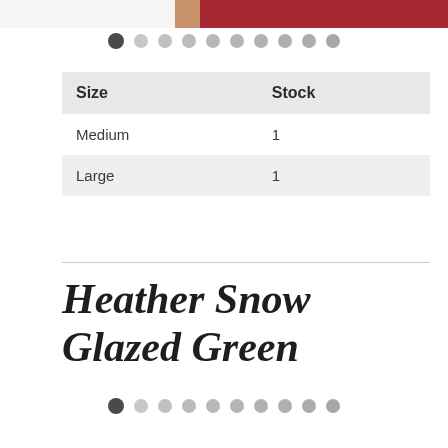[Figure (photo): Partial photo of a person wearing a dark red/maroon top, cropped at the top of the page]
[Figure (other): Image carousel pagination dots row — first dot is dark/selected, remaining 9 dots are light gray]
| Size | Stock |
| --- | --- |
| Medium | 1 |
| Large | 1 |
Heather Snow Glazed Green
[Figure (other): Image carousel pagination dots row — first dot is dark/selected, remaining 9 dots are light gray]